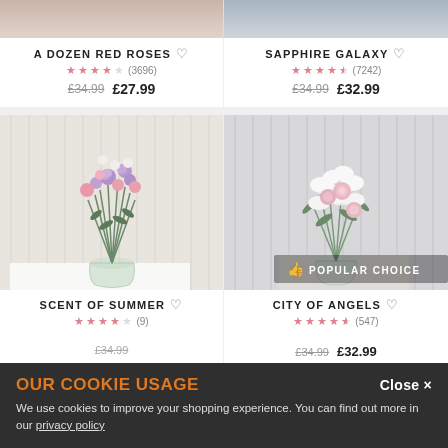[Figure (photo): Top partial row: two flower product images cropped at top]
A DOZEN RED ROSES ♡ ★★★★☆ (3696) £34.99 £27.99
SAPPHIRE GALAXY ♡ ★★★★½ (7242) £34.99 £32.99
[Figure (photo): Scent of Summer bouquet - pink, purple, and white flowers in glass vase on white shelf]
[Figure (photo): City of Angels bouquet - white lilies and pink roses in glass vase, with Popular Choice badge]
SCENT OF SUMMER ♡ ★★★★☆ (9)
CITY OF ANGELS ♡ ★★★★½ (547)
£34.99 £32.99
OUR COOKIE USAGE
We use cookies to improve your shopping experience. You can find out more in our privacy policy
Close ×